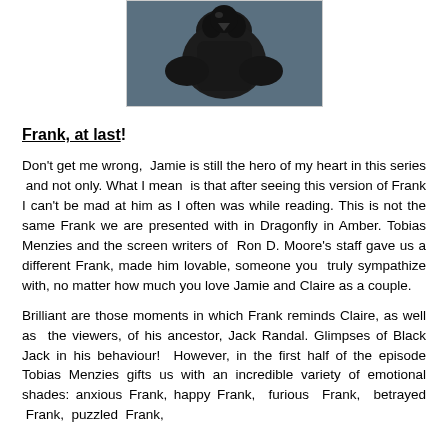[Figure (photo): A dark bird or animal figure photographed against a blue-grey background, shown from roughly chest/shoulder up.]
Frank, at last!
Don't get me wrong, Jamie is still the hero of my heart in this series and not only. What I mean is that after seeing this version of Frank I can't be mad at him as I often was while reading. This is not the same Frank we are presented with in Dragonfly in Amber. Tobias Menzies and the screen writers of Ron D. Moore's staff gave us a different Frank, made him lovable, someone you truly sympathize with, no matter how much you love Jamie and Claire as a couple.
Brilliant are those moments in which Frank reminds Claire, as well as the viewers, of his ancestor, Jack Randal. Glimpses of Black Jack in his behaviour! However, in the first half of the episode Tobias Menzies gifts us with an incredible variety of emotional shades: anxious Frank, happy Frank, furious Frank, betrayed Frank, puzzled Frank,